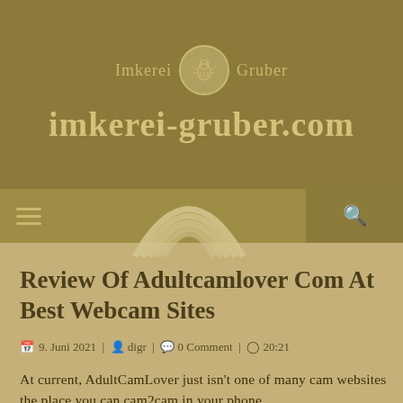Imkerei Gruber
imkerei-gruber.com
Review Of Adultcamlover Com At Best Webcam Sites
9. Juni 2021 | digr | 0 Comment | 20:21
At current, AdultCamLover just isn't one of many cam websites the place you can cam2cam in your phone.